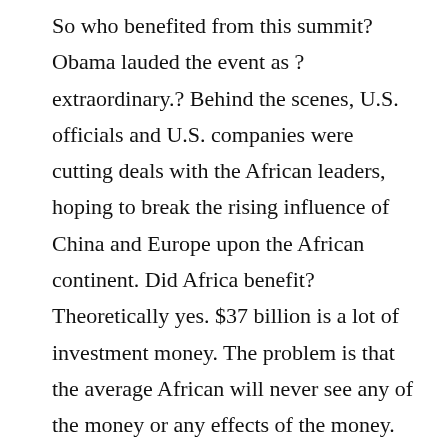So who benefited from this summit? Obama lauded the event as ?extraordinary.? Behind the scenes, U.S. officials and U.S. companies were cutting deals with the African leaders, hoping to break the rising influence of China and Europe upon the African continent. Did Africa benefit? Theoretically yes. $37 billion is a lot of investment money. The problem is that the average African will never see any of the money or any effects of the money. As the U.S. House Foreign Affairs Committee Chairman Edward Royce said, the real value of the summit can only be judged a year from now ?when the words on paper and the hours of talking are implemented and acted upon". ?So will they actually get things done? The records say probably not, but we are keeping our